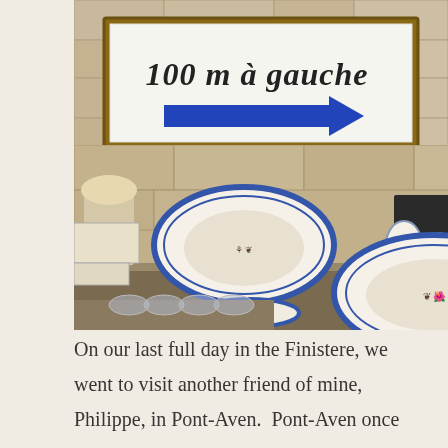[Figure (photo): A white sign with italic black text reading '100 m à gauche' and a blue arrow pointing right, mounted on a stone wall background]
[Figure (photo): A display of traditional Breton faience ceramics including oval platters with blue borders and folk-art painted scenes of Breton figures, a decorated vase, small egg-shaped pieces, and other pottery on a wooden shelf, against a stone wall]
On our last full day in the Finistere, we went to visit another friend of mine, Philippe, in Pont-Aven.  Pont-Aven once